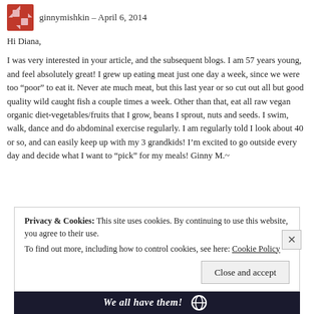ginnymishkin – April 6, 2014
Hi Diana,
I was very interested in your article, and the subsequent blogs. I am 57 years young, and feel absolutely great! I grew up eating meat just one day a week, since we were too “poor” to eat it. Never ate much meat, but this last year or so cut out all but good quality wild caught fish a couple times a week. Other than that, eat all raw vegan organic diet-vegetables/fruits that I grow, beans I sprout, nuts and seeds. I swim, walk, dance and do abdominal exercise regularly. I am regularly told I look about 40 or so, and can easily keep up with my 3 grandkids! I’m excited to go outside every day and decide what I want to “pick” for my meals! Ginny M.~
Privacy & Cookies: This site uses cookies. By continuing to use this website, you agree to their use. To find out more, including how to control cookies, see here: Cookie Policy
Close and accept